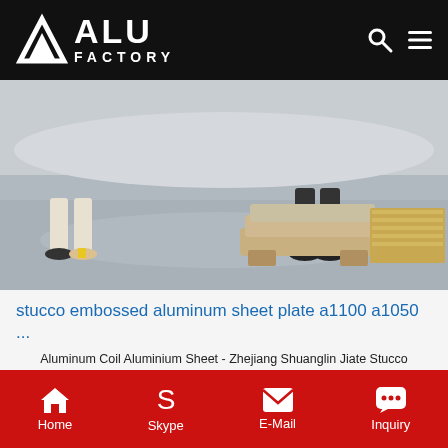ALU FACTORY
[Figure (photo): Factory floor photo showing workers and stacked aluminum sheets/plates on a wooden pallet beneath large industrial equipment]
stucco embossed aluminum sheet plate a1100 a1050 ...
Aluminum Coil Aluminium Sheet - Zhejiang Shuanglin Jiate Stucco embossed aluminum sheet A1100 A1050 A1060. $2300.00 - $2600.00 / Ton. 5 Tons Factory production H22 H24 O H26 anti-slip aluminum tread plate. $2400.00 - $2500.00 / Ton. 2 Tons (Min. Order) Decorative painted aluminum coil sheetA1100 A 1050 A1060 A3003. Get Price
Get Price
Home  Skype  E-Mail  Inquiry